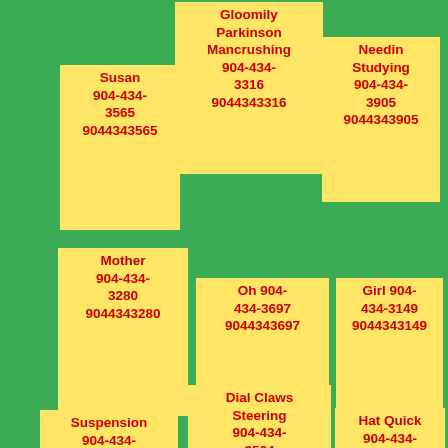Gloomily Parkinson Mancrushing 904-434-3316 9044343316
Susan 904-434-3565 9044343565
Needin Studying 904-434-3905 9044343905
Mother 904-434-3280 9044343280
Oh 904-434-3697 9044343697
Girl 904-434-3149 9044343149
Suspension 904-434-3513 9044343513
Dial Claws Steering 904-434-3564 9044343564
Hat Quick 904-434-3740 9044343740
Born 904-...
Relieved Orders Their 904-...
Unable 904-434-...